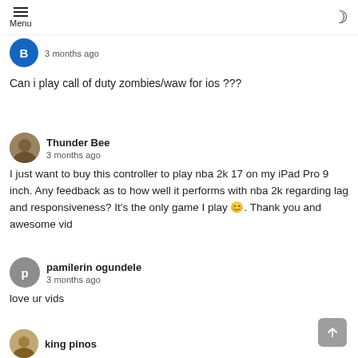Menu
3 months ago
Can i play call of duty zombies/waw for ios ???
Thunder Bee
3 months ago
I just want to buy this controller to play nba 2k 17 on my iPad Pro 9 inch. Any feedback as to how well it performs with nba 2k regarding lag and responsiveness? It's the only game I play 😊. Thank you and awesome vid
pamilerin ogundele
3 months ago
love ur vids
king pinos